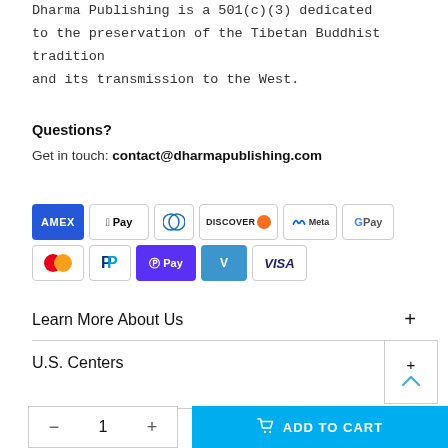Dharma Publishing is a 501(c)(3) dedicated to the preservation of the Tibetan Buddhist tradition and its transmission to the West.
Questions?
Get in touch: contact@dharmapublishing.com
[Figure (other): Payment method icons: American Express, Apple Pay, Diners Club, Discover, Meta Pay, Google Pay, Mastercard, PayPal, Shop Pay, Venmo, Visa]
Learn More About Us
U.S. Centers